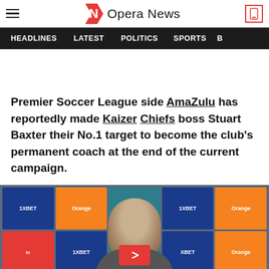Opera News
HEADLINES  LATEST  POLITICS  SPORTS
Premier Soccer League side AmaZulu has reportedly made Kaizer Chiefs boss Stuart Baxter their No.1 target to become the club's permanent coach at the end of the current campaign.
[Figure (photo): Press conference backdrop with sponsor logos (1XBET, Orange, etc.) and a man (Stuart Baxter) in the foreground]